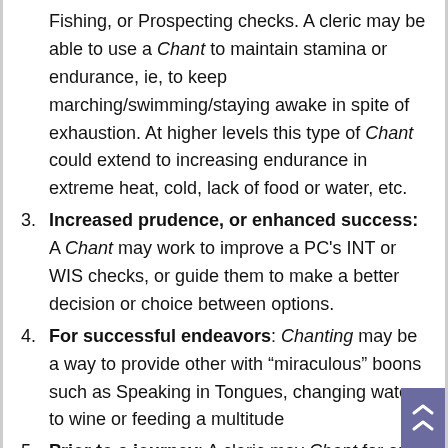Fishing, or Prospecting checks. A cleric may be able to use a Chant to maintain stamina or endurance, ie, to keep marching/swimming/staying awake in spite of exhaustion. At higher levels this type of Chant could extend to increasing endurance in extreme heat, cold, lack of food or water, etc.
3. Increased prudence, or enhanced success: A Chant may work to improve a PC's INT or WIS checks, or guide them to make a better decision or choice between options.
4. For successful endeavors: Chanting may be a way to provide other with "miraculous" boons such as Speaking in Tongues, changing water to wine or feeding a multitude
5. Prior to a journey: A cleric may Chant for an hour before beginning an overland journey, to reduce the